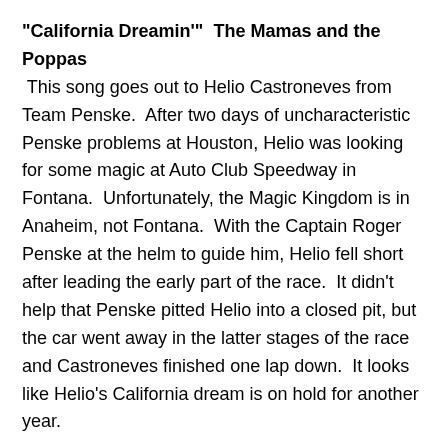"California Dreamin'"  The Mamas and the Poppas  This song goes out to Helio Castroneves from Team Penske.  After two days of uncharacteristic Penske problems at Houston, Helio was looking for some magic at Auto Club Speedway in Fontana.  Unfortunately, the Magic Kingdom is in Anaheim, not Fontana.  With the Captain Roger Penske at the helm to guide him, Helio fell short after leading the early part of the race.  It didn't help that Penske pitted Helio into a closed pit, but the car went away in the latter stages of the race and Castroneves finished one lap down.  It looks like Helio's California dream is on hold for another year.
"California Here I Come"  Al Jolsen  Do you know this is not the state song of California?  Something called "I Love You, California" is.  It's awful.  In any case, you can listen to the most theatrical Al Jolsen version on the alt...